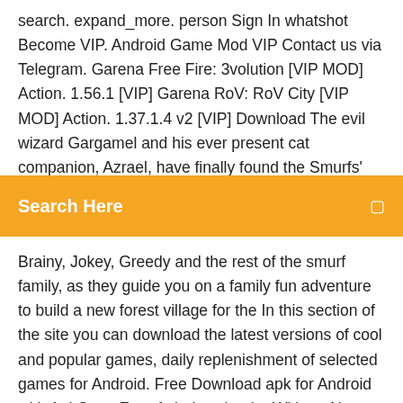search. expand_more. person Sign In whatshot Become VIP. Android Game Mod VIP Contact us via Telegram. Garena Free Fire: 3volution [VIP MOD] Action. 1.56.1 [VIP] Garena RoV: RoV City [VIP MOD] Action. 1.37.1.4 v2 [VIP] Download The evil wizard Gargamel and his ever present cat companion, Azrael, have finally found the Smurfs' village and scattered our lovable
[Figure (other): Orange/amber search bar with 'Search Here' placeholder text and a search icon on the right]
Brainy, Jokey, Greedy and the rest of the smurf family, as they guide you on a family fun adventure to build a new forest village for the In this section of the site you can download the latest versions of cool and popular games, daily replenishment of selected games for Android. Free Download apk for Android with ApkGameFree Apk downloader Without No Ads, Android New released Apk Mod Apps And Games and Latest Version from Direct Download. Quickly apk downloads and apk file update speed all free. Ice Age Village 3.6.0 APK + Mod (Free purchase) for Android. Every developer from a great from going on through the l...